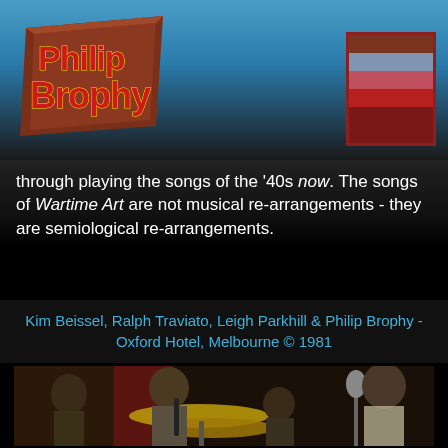[Figure (logo): Philip Brophy logo in red/brown 3D block letters with yellow outline]
[Figure (other): Color swatch box with horizontal stripes: dark brown, grey-blue, pink-red, red, dark red]
through playing the songs of the '40s now. The songs of Wartime Art are not musical re-arrangements - they are semiological re-arrangements.
Kim Beissel, Ralph Traviato, Leigh Parkhill & Philip Brophy - Oxford Hotel, Melbourne © 1981
[Figure (photo): Black and white / sepia toned photo of four musicians performing on stage at Oxford Hotel Melbourne in 1981, with drums, microphone, and wind instrument visible]